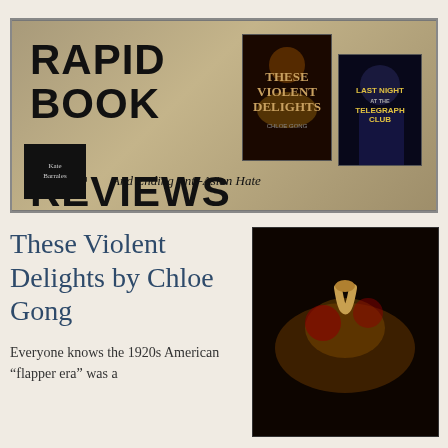[Figure (illustration): Banner graphic for 'Rapid Book Reviews And Ending Anti-Asian Hate' with book covers of 'These Violent Delights' by Chloe Gong and 'Last Night at the Telegraph Club' by Malinda Lo, golden-brown gradient background, logo in bottom-left corner.]
These Violent Delights by Chloe Gong
Everyone knows the 1920s American “flapper era” was a
[Figure (photo): Book cover of 'These Violent Delights' by Chloe Gong — dark background with ornate golden snake, roses, and title text in gold and white.]